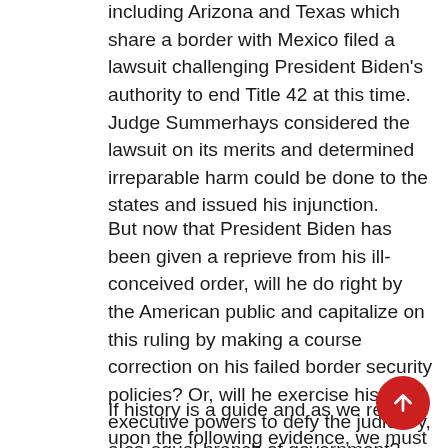Upon issuing the order, more than 20 states including Arizona and Texas which share a border with Mexico filed a lawsuit challenging President Biden's authority to end Title 42 at this time. Judge Summerhays considered the lawsuit on its merits and determined irreparable harm could be done to the states and issued his injunction.
But now that President Biden has been given a reprieve from his ill-conceived order, will he do right by the American public and capitalize on this ruling by making a course correction on his failed border security policies? Or, will he exercise his executive powers to defy the judiciary, a co-equal branch of government?
If history is a guide and as we rely upon the following evidence, we must conclude the answer